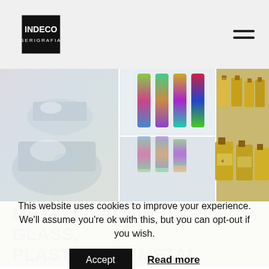[Figure (logo): INDECO SERIGRAFIA logo with colorful starburst/flower border on black square background]
[Figure (photo): Collage of three metallized product images: iridescent glass containers on left, colorful metallic tubes in center, gold metallic small bottles on right]
METALLIZATION ON GLASS, PLASTIC AND METAL
This website uses cookies to improve your experience. We'll assume you're ok with this, but you can opt-out if you wish.
Accept   Read more